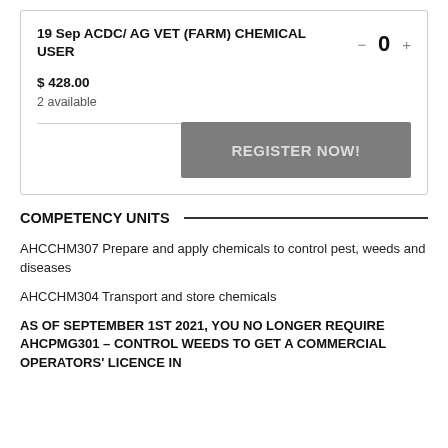19 Sep ACDC/ AG VET (FARM) CHEMICAL USER
$ 428.00
2 available
- 0 +
REGISTER NOW!
COMPETENCY UNITS
AHCCHM307 Prepare and apply chemicals to control pest, weeds and diseases
AHCCHM304 Transport and store chemicals
AS OF SEPTEMBER 1ST 2021, YOU NO LONGER REQUIRE AHCPMG301 – CONTROL WEEDS TO GET A COMMERCIAL OPERATORS' LICENCE IN